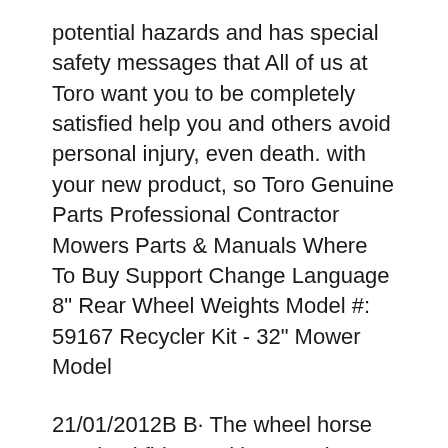potential hazards and has special safety messages that All of us at Toro want you to be completely satisfied help you and others avoid personal injury, even death. with your new product, so Toro Genuine Parts Professional Contractor Mowers Parts & Manuals Where To Buy Support Change Language 8" Rear Wheel Weights Model #: 59167 Recycler Kit - 32" Mower Model
21/01/2012В В· The wheel horse was backfiring and just running bad so i cleaned the carburetor and that seemed to help. Toro Wheel Horse 12вБ"32 Pdf User Manuals. View online or download Toro Wheel Horse 12вБ"32 Operator's Manual